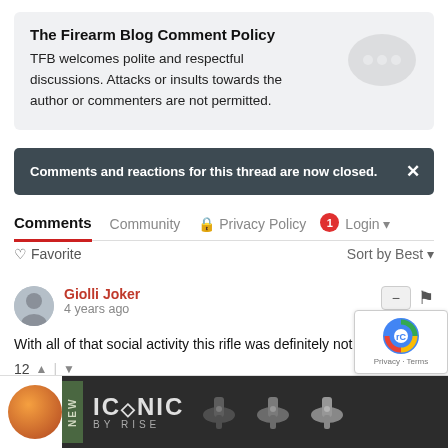The Firearm Blog Comment Policy
TFB welcomes polite and respectful discussions. Attacks or insults towards the author or commenters are not permitted.
Comments and reactions for this thread are now closed.
Comments  Community  Privacy Policy  1  Login
♡ Favorite  Sort by Best
Giolli Joker
4 years ago
With all of that social activity this rifle was definitely not a loner.
12
[Figure (screenshot): Advertisement banner showing ICONIC BY RISE product with orange sphere and gun trigger images on dark background]